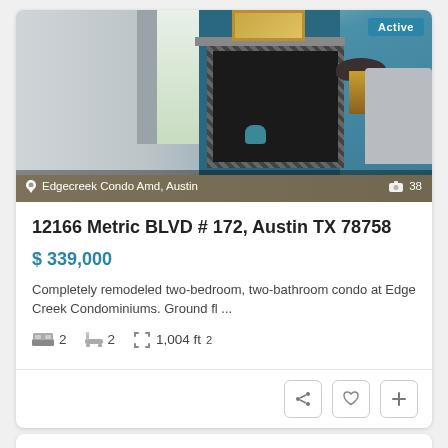[Figure (photo): Interior photo of a condo living room with a fireplace, blue accent wall, painting above fireplace, window with curtains on the left, and a chair with lamp on the right. Badge 'Active' visible top right. Location label 'Edgecreek Condo Amd, Austin' and photo count '38' at bottom.]
12166 Metric BLVD # 172, Austin TX 78758
$ 339,000
Completely remodeled two-bedroom, two-bathroom condo at Edge Creek Condominiums. Ground fl ...
2  2  1,004 ft²